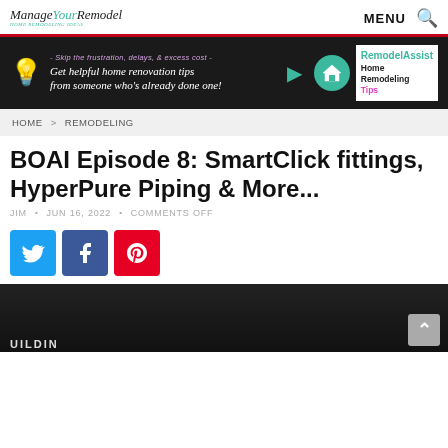ManageYourRemodel — MENU 🔍
[Figure (infographic): Advertisement banner: black background with lightbulb icon, text 'Skip the frustration, delays, & excess cost - Get helpful home renovation tips from someone who's already done one!' with teal arrow and RemodelAssist Home Remodeling Tips logo on right]
HOME > REMODELING
BOAI Episode 8: SmartClick fittings, HyperPure Piping & More...
JIM • JUN 16, 2022 • COMMENTS OFF
[Figure (infographic): Social share buttons: Twitter (blue), Facebook (dark blue), Pinterest (red)]
[Figure (screenshot): Video thumbnail with dark background, partial text 'UILDIN' visible at bottom left]